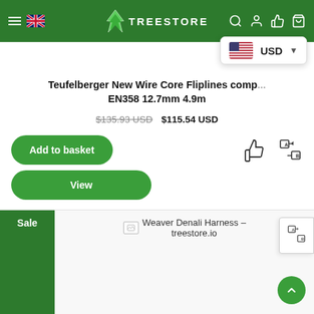TREESTORE
Teufelberger New Wire Core Fliplines comp... EN358 12.7mm 4.9m
$135.93 USD $115.54 USD
[Figure (screenshot): Add to basket button (green rounded button)]
[Figure (screenshot): View button (green rounded button)]
Sale
Weaver Denali Harness - treestore.io